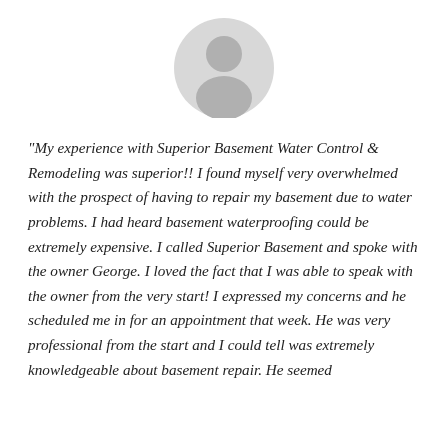[Figure (illustration): Generic user avatar icon — a grey silhouette of a person inside a light grey circle]
“My experience with Superior Basement Water Control & Remodeling was superior!! I found myself very overwhelmed with the prospect of having to repair my basement due to water problems. I had heard basement waterproofing could be extremely expensive. I called Superior Basement and spoke with the owner George. I loved the fact that I was able to speak with the owner from the very start! I expressed my concerns and he scheduled me in for an appointment that week. He was very professional from the start and I could tell was extremely knowledgeable about basement repair. He seemed